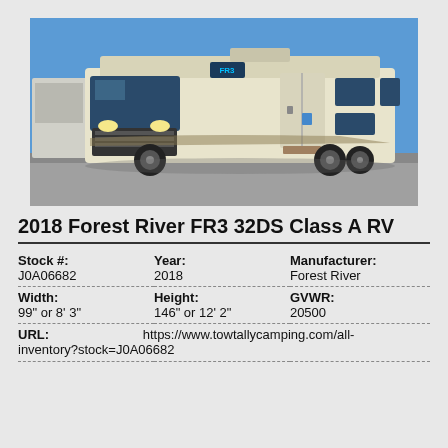[Figure (photo): Exterior photo of a 2018 Forest River FR3 32DS Class A RV, cream/beige colored motorhome with dark accent stripes, parked on pavement with blue sky background.]
2018 Forest River FR3 32DS Class A RV
| Stock #: | Year: | Manufacturer: |
| J0A06682 | 2018 | Forest River |
| Width: | Height: | GVWR: |
| 99" or 8' 3" | 146" or 12' 2" | 20500 |
| URL: | https://www.towtallycamping.com/all-inventory?stock=J0A06682 |  |